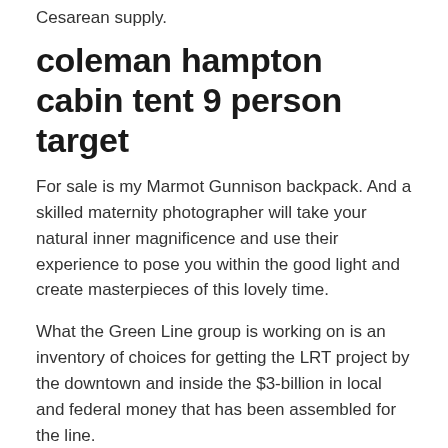Cesarean supply.
coleman hampton cabin tent 9 person target
For sale is my Marmot Gunnison backpack. And a skilled maternity photographer will take your natural inner magnificence and use their experience to pose you within the good light and create masterpieces of this lovely time.
What the Green Line group is working on is an inventory of choices for getting the LRT project by the downtown and inside the $3-billion in local and federal money that has been assembled for the line.
It is not just the capability of this COLEMAN Hampton 6 Person Household Camping Cabin Tent that makes it stand out.